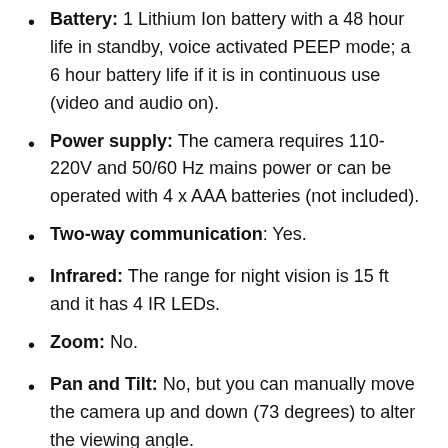Battery: 1 Lithium Ion battery with a 48 hour life in standby, voice activated PEEP mode; a 6 hour battery life if it is in continuous use (video and audio on).
Power supply: The camera requires 110-220V and 50/60 Hz mains power or can be operated with 4 x AAA batteries (not included).
Two-way communication: Yes.
Infrared: The range for night vision is 15 ft and it has 4 IR LEDs.
Zoom: No.
Pan and Tilt: No, but you can manually move the camera up and down (73 degrees) to alter the viewing angle.
Temperature sensor: You can monitor the ambient temperature in and the camera can...